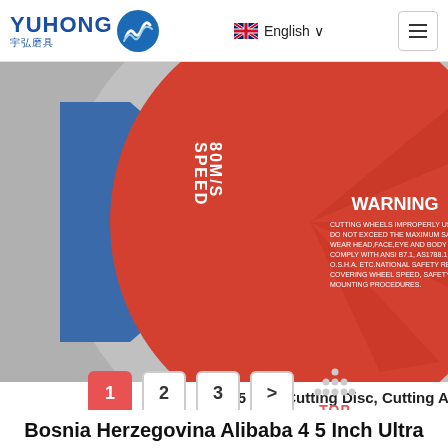[Figure (logo): YUHONG 宇弘磨具 logo with blue wave/flame icon]
English ∨
[Figure (photo): Close-up of a 5-inch cutting disc showing red/blue label with WARNING text, SPEED 80M/S, barcode, and customer service chat widget overlay with '24/7 Online' banner]
5 Inch Cutting Disc, Cutting All Kinds Of Meta Pipes, 5 Inches (125X1.6X22)
[Figure (infographic): Pagination buttons: 1 (active, red), 2, 3, > and TOP arrow icon]
Bosnia Herzegovina Alibaba 4 5 Inch Ultra